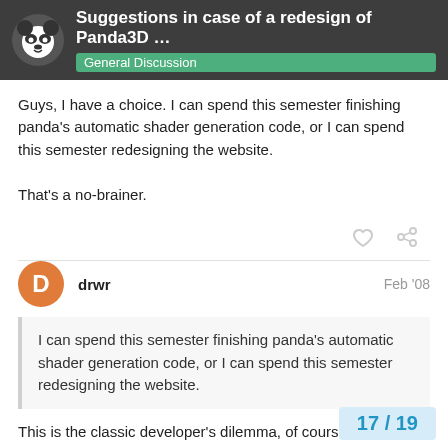Suggestions in case of a redesign of Panda3D ... | General Discussion
Guys, I have a choice. I can spend this semester finishing panda's automatic shader generation code, or I can spend this semester redesigning the website.

That's a no-brainer.
drwr  Feb '08
I can spend this semester finishing panda's automatic shader generation code, or I can spend this semester redesigning the website.
This is the classic developer's dilemma, of course. It's why documentation is almost always older, than the code it documents.
17 / 19